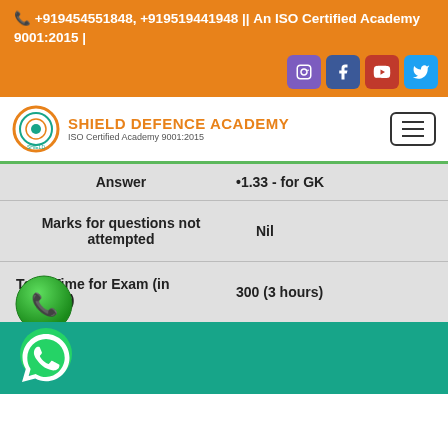📞 +919454551848, +919519441948 || An ISO Certified Academy 9001:2015 |
[Figure (logo): Shield Defence Academy logo with orange text and ISO certification note]
Answer  •1.33 - for GK
Marks for questions not attempted  Nil
Total Time for Exam (in minutes)  300 (3 hours)
[Figure (illustration): Green circular phone call button icon]
[Figure (illustration): WhatsApp icon on teal footer bar]